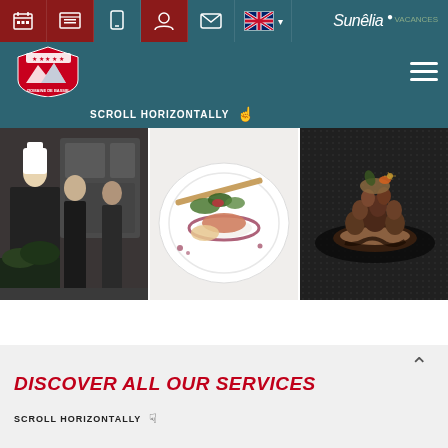[Figure (screenshot): Website navigation header for a French vacation/camping resort (Domaine de Bassie / Sunelia Vacances) with teal/dark-teal nav bars, red highlighted icons, UK flag language selector, hamburger menu, 'SCROLL HORIZONTALLY' instruction, and a three-panel photo strip showing kitchen staff/chefs, a plated starter dish, and a chocolate dessert. Below: 'DISCOVER ALL OUR SERVICES' section header in bold red italic with 'SCROLL HORIZONTALLY' hint and partial bottom food image.]